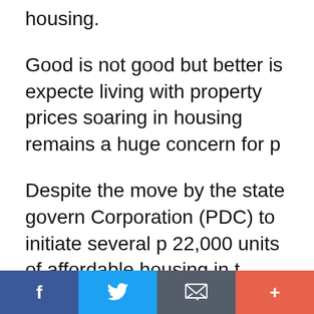housing.
Good is not good but better is expected living with property prices soaring in housing remains a huge concern for p
Despite the move by the state govern Corporation (PDC) to initiate several p 22,000 units of affordable housing in growing worry that this will not meet Penangites in the advent of lavish hou
f  [twitter]  [email]  +